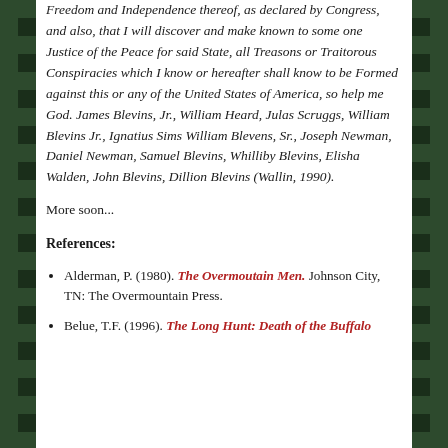Freedom and Independence thereof, as declared by Congress, and also, that I will discover and make known to some one Justice of the Peace for said State, all Treasons or Traitorous Conspiracies which I know or hereafter shall know to be Formed against this or any of the United States of America, so help me God. James Blevins, Jr., William Heard, Julas Scruggs, William Blevins Jr., Ignatius Sims William Blevens, Sr., Joseph Newman, Daniel Newman, Samuel Blevins, Whilliby Blevins, Elisha Walden, John Blevins, Dillion Blevins (Wallin, 1990).
More soon...
References:
Alderman, P. (1980). The Overmoutain Men. Johnson City, TN: The Overmountain Press.
Belue, T.F. (1996). The Long Hunt: Death of the Buffalo